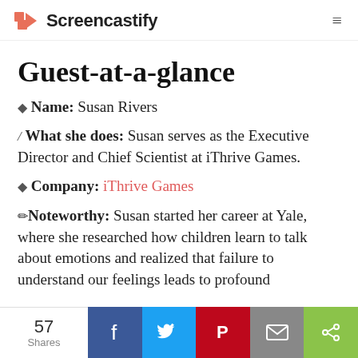Screencastify
Guest-at-a-glance
🔷 Name: Susan Rivers
/ What she does: Susan serves as the Executive Director and Chief Scientist at iThrive Games.
🔷 Company: iThrive Games
✏ Noteworthy: Susan started her career at Yale, where she researched how children learn to talk about emotions and realized that failure to understand our feelings leads to profound
57 Shares | Facebook | Twitter | Pinterest | Email | Share